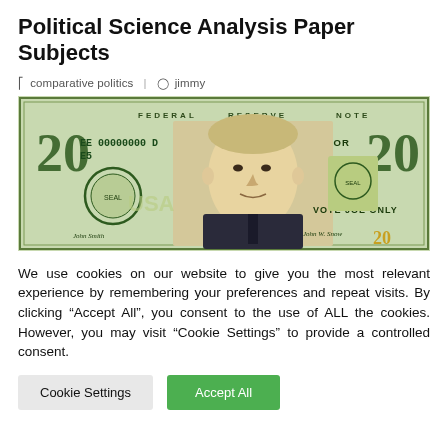Political Science Analysis Paper Subjects
comparative politics | jimmy
[Figure (photo): A novelty $20 bill featuring a portrait of Joe Lieberman with text 'EE 00000000 D', 'E5', 'CONNECTICUT FOR LIEBERMAN', 'VOTE JOE ONLY', 'FEDERAL RESERVE NOTE', and '20' on both sides.]
We use cookies on our website to give you the most relevant experience by remembering your preferences and repeat visits. By clicking “Accept All”, you consent to the use of ALL the cookies. However, you may visit "Cookie Settings" to provide a controlled consent.
Cookie Settings | Accept All